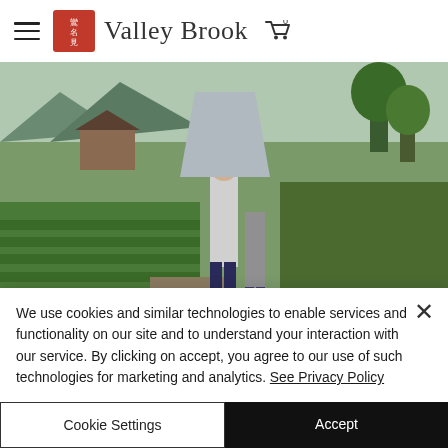Valley Brook
[Figure (photo): Person carrying a large sack walking through a green tea plantation with mountains and a wooden building in the background]
We use cookies and similar technologies to enable services and functionality on our site and to understand your interaction with our service. By clicking on accept, you agree to our use of such technologies for marketing and analytics. See Privacy Policy
Cookie Settings
Accept